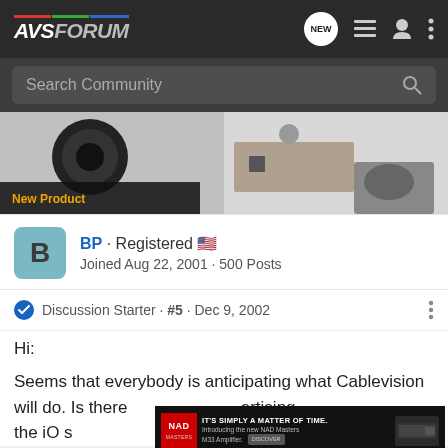AVS FORUM navigation bar with logo, NEW button, list icon, user icon, menu icon
Search Community
[Figure (photo): Advertisement banner showing a subwoofer speaker on the left with 'New Product' badge, and a home audio setup on the right]
BP · Registered 🇺🇸 Joined Aug 22, 2001 · 500 Posts
Discussion Starter · #5 · Dec 9, 2002
Hi:
Seems that everybody is anticipating what Cablevision will do. Is there advertising the iO s y in
[Figure (screenshot): NAD inline advertisement: IT'S SIMPLY A MATTER OF TIME. Introducing the new NAD Masters M33 Amplifier. DISCOVER]